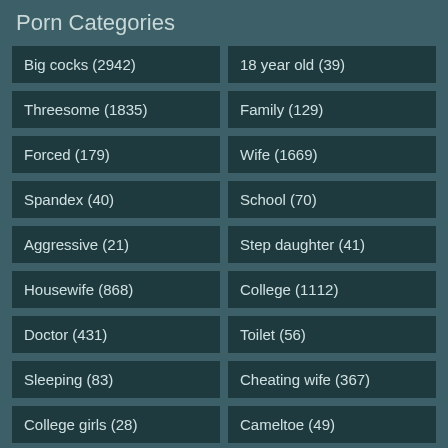Porn Categories
Big cocks (2942)
18 year old (39)
Threesome (1835)
Family (129)
Forced (179)
Wife (1669)
Spandex (40)
School (70)
Aggressive (21)
Step daughter (41)
Housewife (868)
College (1112)
Doctor (431)
Toilet (56)
Sleeping (83)
Cheating wife (367)
College girls (28)
Cameltoe (49)
Camera (49)
Arab (162)